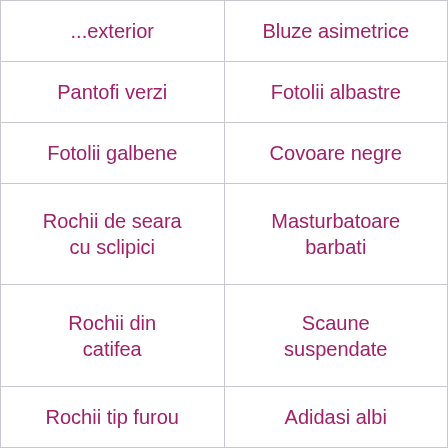| ...exterior | Bluze asimetrice |
| Pantofi verzi | Fotolii albastre |
| Fotolii galbene | Covoare negre |
| Rochii de seara cu sclipici | Masturbatoare barbati |
| Rochii din catifea | Scaune suspendate |
| Rochii tip furou | Adidasi albi |